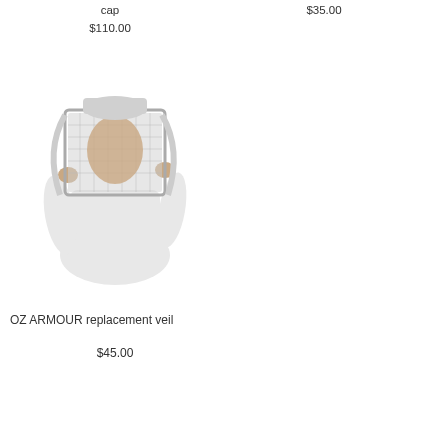cap
$110.00
$35.00
[Figure (photo): Person wearing a white beekeeping suit with a fencing-style veil lifted up, holding the veil brim with both hands]
OZ ARMOUR replacement veil
$45.00